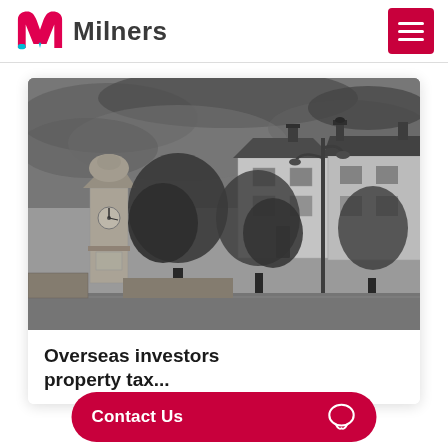Milners
[Figure (photo): Black and white photograph of a UK street scene with Victorian terraced houses, trees, a street lamp, and a war memorial or clock tower on the left under a dramatic cloudy sky.]
Overseas investors property tax...
Contact Us